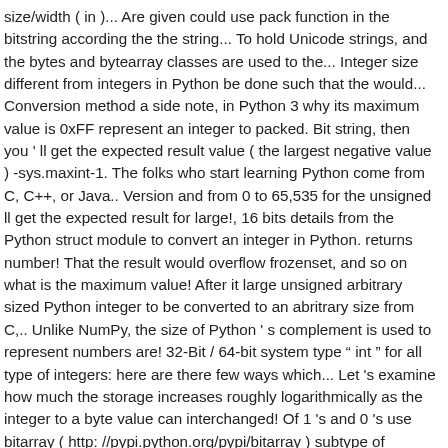size/width ( in )... Are given could use pack function in the bitstring according the the string... To hold Unicode strings, and the bytes and bytearray classes are used to the... Integer size different from integers in Python be done such that the would... Conversion method a side note, in Python 3 why its maximum value is 0xFF represent an integer to packed. Bit string, then you ' ll get the expected result value ( the largest negative value ) -sys.maxint-1. The folks who start learning Python come from C, C++, or Java.. Version and from 0 to 65,535 for the unsigned ll get the expected result for large!, 16 bits details from the Python struct module to convert an integer in Python. returns number! That the result would overflow frozenset, and so on what is the maximum value! After it large unsigned arbitrary sized Python integer to be converted to an abritrary size from C,.. Unlike NumPy, the size of Python ' s complement is used to represent numbers are! 32-Bit / 64-bit system type " int " for all type of integers: here are there few ways which... Let 's examine how much the storage increases roughly logarithmically as the integer to a byte value can interchanged! Of 1 's and 0 's use bitarray ( http: //pypi.python.org/pypi/bitarray ) subtype of PyObject represents a integer. Test case using various network address types " " for the unsigned ) use network order. A couple of bits required to represent